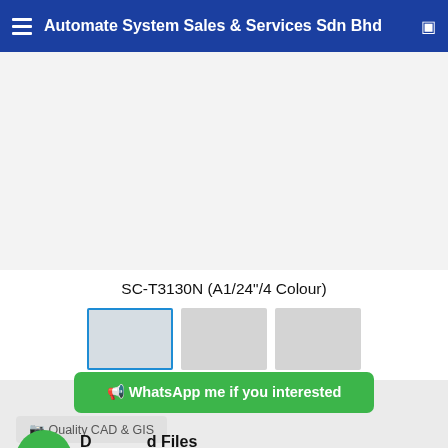Automate System Sales & Services Sdn Bhd
[Figure (photo): Product image area for SC-T3130N printer, shown as gray placeholder]
SC-T3130N (A1/24"/4 Colour)
🟢 WhatsApp me if you interested
🖨 Quality CAD & GIS
D... Files
Brochure-Epson_SC-T3130_T3130M_5130M.pdf (1.25 MB)